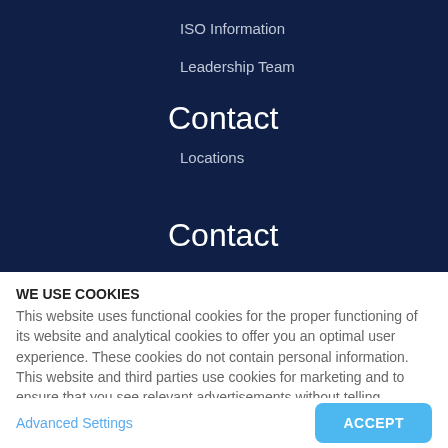ISO Information
Leadership Team
Contact
Locations
Contact
WE USE COOKIES
This website uses functional cookies for the proper functioning of its website and analytical cookies to offer you an optimal user experience. These cookies do not contain personal information. This website and third parties use cookies for marketing and to ensure that you see relevant advertisements without telling advertisers who
Advanced Settings
ACCEPT